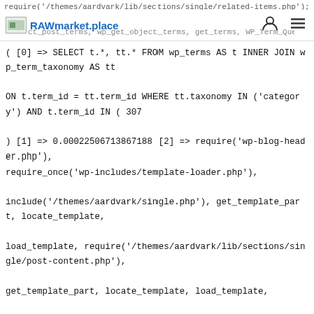RAWmarket.place
WP_Term_Query->get_terms [3] => 1662078618.3422 [4] => Array ( ) ) [102] => Array ( [0] => SELECT t.*, tt.* FROM wp_terms AS t INNER JOIN wp_term_taxonomy AS tt ON t.term_id = tt.term_id WHERE tt.taxonomy IN ('category') AND t.term_id IN ( 307 ) [1] => 0.00022506713867188 [2] => require('wp-blog-header.php'), require_once('wp-includes/template-loader.php'), include('/themes/aardvark/single.php'), get_template_part, locate_template, load_template, require('/themes/aardvark/lib/sections/single/post-content.php'), get_template_part, locate_template, load_template, require('/themes/aardvark/lib/sections/single/related-items.php'), WP_Query->__construct, WP_Query->query, WP_Query->get_posts, WP_Tax_Query->get_sql, WP_Tax_Query->get_sql_clauses, WP_Tax_Query->get_sql_for_query, WP_Tax_Query->get_sql_for_clause, WP_Tax_Query->clean_query, WP_Tax_Query->transform_query, WP_Term_Query->query, WP_Term_Query->get_terms [3] => 1662078618.344 [4] => Array ( ) ) [103] => Array ( [0] => SELECT wp_posts.ID FROM wp_posts LEFT JOIN